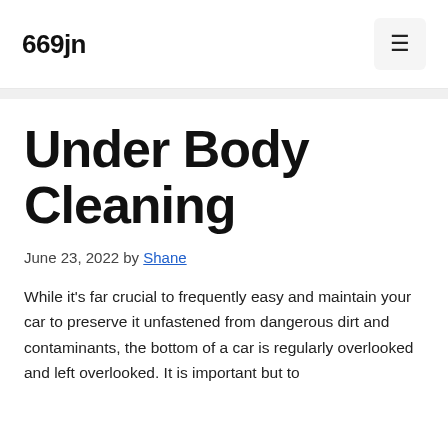669jn
Under Body Cleaning
June 23, 2022 by Shane
While it's far crucial to frequently easy and maintain your car to preserve it unfastened from dangerous dirt and contaminants, the bottom of a car is regularly overlooked and left overlooked. It is important but to